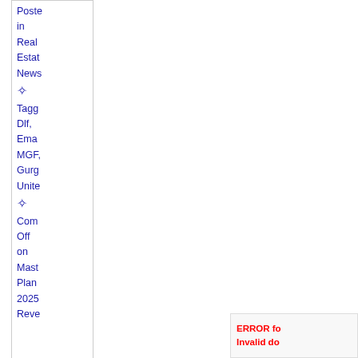Posted in Real Estate News ✦ Tagged Dlf, Email, MGF, Gurgaon, United ✦ Comments Off on Master Plan 2025 Reveal
Bo Mo
DEC 17, 2011 – 4:02 PM
ERROR fo Invalid do